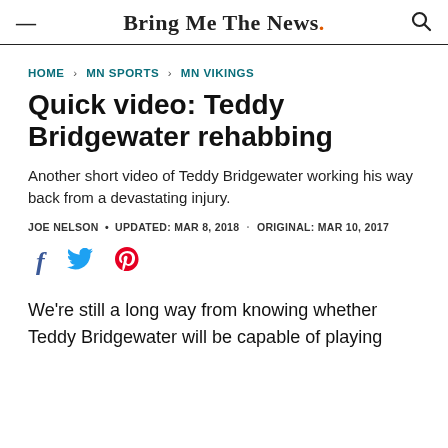Bring Me The News.
HOME > MN SPORTS > MN VIKINGS
Quick video: Teddy Bridgewater rehabbing
Another short video of Teddy Bridgewater working his way back from a devastating injury.
JOE NELSON • UPDATED: MAR 8, 2018 · ORIGINAL: MAR 10, 2017
[Figure (other): Social sharing icons: Facebook, Twitter, Pinterest]
We're still a long way from knowing whether Teddy Bridgewater will be capable of playing